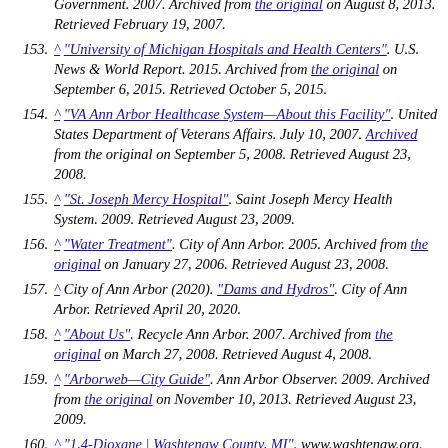Government. 2007. Archived from the original on August 8, 2013. Retrieved February 19, 2007.
153. ^ "University of Michigan Hospitals and Health Centers". U.S. News & World Report. 2015. Archived from the original on September 6, 2015. Retrieved October 5, 2015.
154. ^ "VA Ann Arbor Healthcase System—About this Facility". United States Department of Veterans Affairs. July 10, 2007. Archived from the original on September 5, 2008. Retrieved August 23, 2008.
155. ^ "St. Joseph Mercy Hospital". Saint Joseph Mercy Health System. 2009. Retrieved August 23, 2009.
156. ^ "Water Treatment". City of Ann Arbor. 2005. Archived from the original on January 27, 2006. Retrieved August 23, 2008.
157. ^ City of Ann Arbor (2020). "Dams and Hydros". City of Ann Arbor. Retrieved April 20, 2020.
158. ^ "About Us". Recycle Ann Arbor. 2007. Archived from the original on March 27, 2008. Retrieved August 4, 2008.
159. ^ "Arborweb—City Guide". Ann Arbor Observer. 2009. Archived from the original on November 10, 2013. Retrieved August 23, 2009.
160. ^ "1,4-Dioxane | Washtenaw County, MI". www.washtenaw.org. Retrieved December 15, 2020.
161. ^ Official 2007 Department of Transportation Map (Map). 1 in:15 mi/1 cm:9 km. Michigan Department of